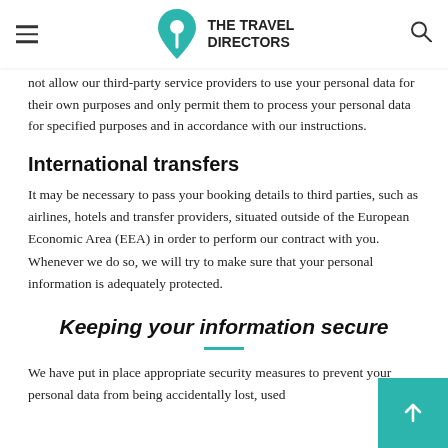THE TRAVEL DIRECTORS
We require all third-party service providers to respect the security of your personal data and to treat it in accordance with the law. We do not allow our third-party service providers to use your personal data for their own purposes and only permit them to process your personal data for specified purposes and in accordance with our instructions.
International transfers
It may be necessary to pass your booking details to third parties, such as airlines, hotels and transfer providers, situated outside of the European Economic Area (EEA) in order to perform our contract with you. Whenever we do so, we will try to make sure that your personal information is adequately protected.
Keeping your information secure
We have put in place appropriate security measures to prevent your personal data from being accidentally lost, used